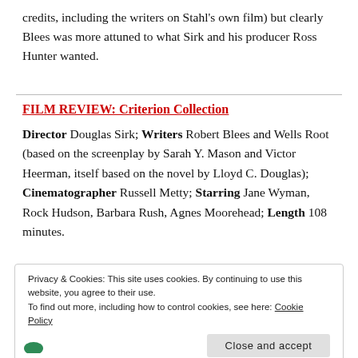credits, including the writers on Stahl's own film) but clearly Blees was more attuned to what Sirk and his producer Ross Hunter wanted.
FILM REVIEW: Criterion Collection
Director Douglas Sirk; Writers Robert Blees and Wells Root (based on the screenplay by Sarah Y. Mason and Victor Heerman, itself based on the novel by Lloyd C. Douglas); Cinematographer Russell Metty; Starring Jane Wyman, Rock Hudson, Barbara Rush, Agnes Moorehead; Length 108 minutes.
Privacy & Cookies: This site uses cookies. By continuing to use this website, you agree to their use.
To find out more, including how to control cookies, see here: Cookie Policy